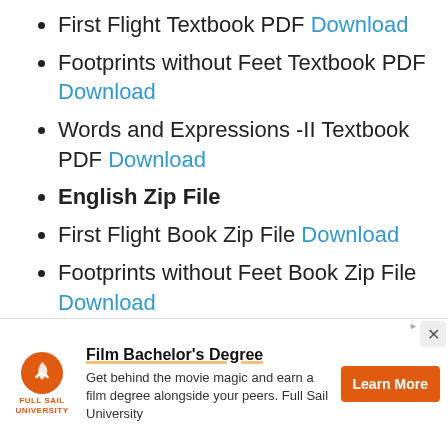First Flight Textbook PDF Download
Footprints without Feet Textbook PDF Download
Words and Expressions -II Textbook PDF Download
English Zip File
First Flight Book Zip File Download
Footprints without Feet Book Zip File Download
Words and Expressions -II Book Zip
[Figure (other): Advertisement banner for Full Sail University Film Bachelor's Degree program with orange Learn More button]